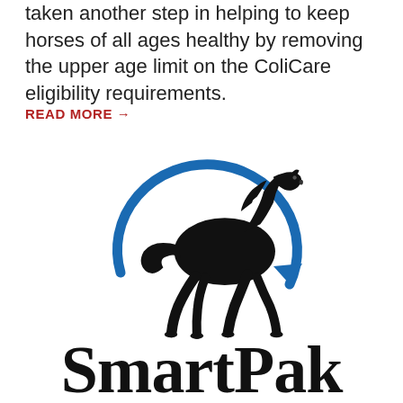taken another step in helping to keep horses of all ages healthy by removing the upper age limit on the ColiCare eligibility requirements.
READ MORE →
[Figure (logo): SmartPak logo: black silhouette of a galloping horse inside a blue circular arrow, with 'SmartPak' in bold serif text below]